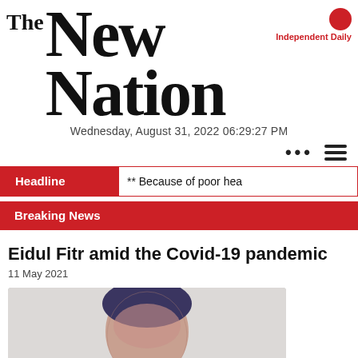The New Nation — Independent Daily
Wednesday, August 31, 2022 06:29:27 PM
Headline ** Because of poor hea
Breaking News
Eidul Fitr amid the Covid-19 pandemic
11 May 2021
[Figure (photo): Portrait photo of a person, showing head/upper body, partially cropped at bottom of page]